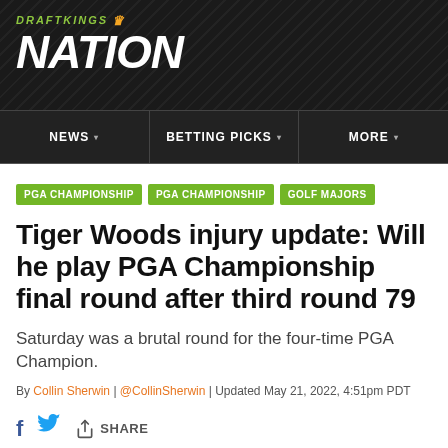[Figure (logo): DraftKings Nation logo on dark diagonal-striped background]
NEWS | BETTING PICKS | MORE
PGA CHAMPIONSHIP
PGA CHAMPIONSHIP
GOLF MAJORS
Tiger Woods injury update: Will he play PGA Championship final round after third round 79
Saturday was a brutal round for the four-time PGA Champion.
By Collin Sherwin | @CollinSherwin | Updated May 21, 2022, 4:51pm PDT
[Figure (infographic): Social share bar with Facebook, Twitter, and Share icons]